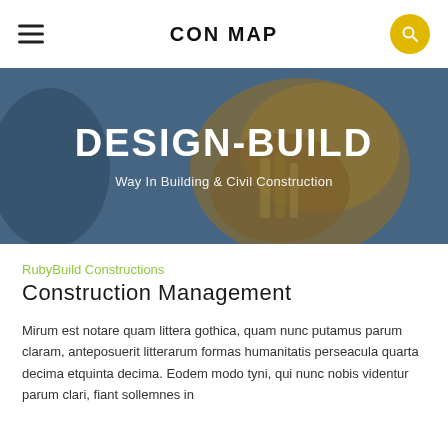CON MAP
[Figure (photo): Close-up of yellow construction gloves against a blurred blue background. Text overlay reads DESIGN-BUILD / Way In Building & Civil Construction.]
DESIGN-BUILD
Way In Building & Civil Construction
RubyBuild Constructions
Construction Management
Mirum est notare quam littera gothica, quam nunc putamus parum claram, anteposuerit litterarum formas humanitatis perseacula quarta decima etquinta decima. Eodem modo tyni, qui nunc nobis videntur parum clari, fiant sollemnes in